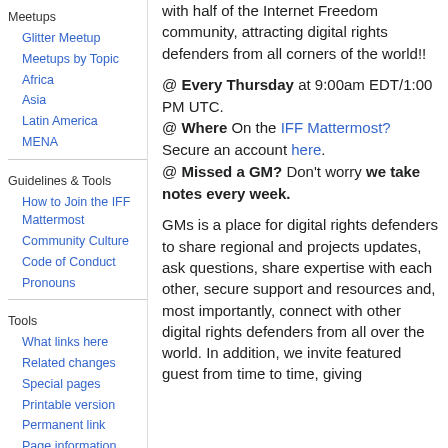Meetups
Glitter Meetup
Meetups by Topic
Africa
Asia
Latin America
MENA
Guidelines & Tools
How to Join the IFF Mattermost
Community Culture
Code of Conduct
Pronouns
Tools
What links here
Related changes
Special pages
Printable version
Permanent link
Page information
with half of the Internet Freedom community, attracting digital rights defenders from all corners of the world!!
@ Every Thursday at 9:00am EDT/1:00 PM UTC.
@ Where On the IFF Mattermost? Secure an account here.
@ Missed a GM? Don't worry we take notes every week.
GMs is a place for digital rights defenders to share regional and projects updates, ask questions, share expertise with each other, secure support and resources and, most importantly, connect with other digital rights defenders from all over the world. In addition, we invite featured guest from time to time, giving